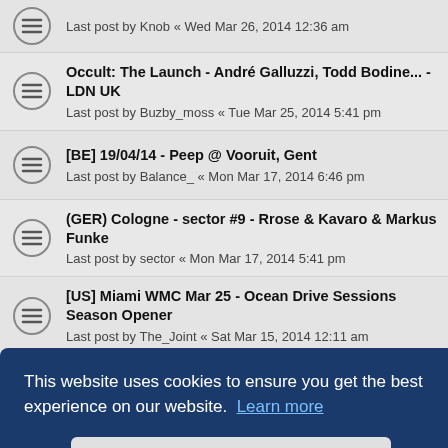Last post by Knob « Wed Mar 26, 2014 12:36 am
Occult: The Launch - André Galluzzi, Todd Bodine... - LDN UK
Last post by Buzby_moss « Tue Mar 25, 2014 5:41 pm
[BE] 19/04/14 - Peep @ Vooruit, Gent
Last post by Balance_ « Mon Mar 17, 2014 6:46 pm
(GER) Cologne - sector #9 - Rrose & Kavaro & Markus Funke
Last post by sector « Mon Mar 17, 2014 5:41 pm
[US] Miami WMC Mar 25 - Ocean Drive Sessions Season Opener
Last post by The_Joint « Sat Mar 15, 2014 12:11 am
This website uses cookies to ensure you get the best experience on our website. Learn more
Got it!